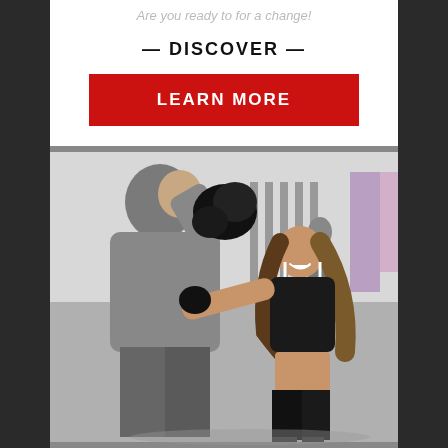Are you ready to for a change!
— DISCOVER —
LEARN MORE
[Figure (photo): A woman in black sports outfit throwing a punch at a male trainer holding boxing mitts in a gym setting. The woman is smiling and has long brown hair. The background shows gym equipment.]